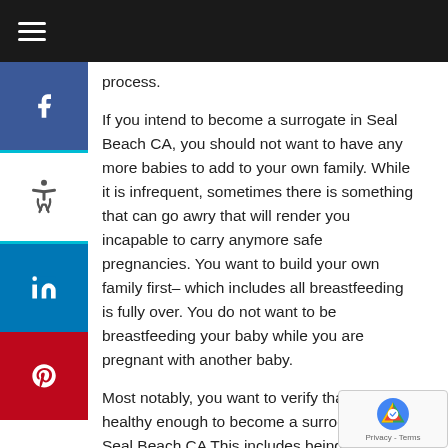Navigation bar with hamburger menu
process.
If you intend to become a surrogate in Seal Beach CA, you should not want to have any more babies to add to your own family. While it is infrequent, sometimes there is something that can go awry that will render you incapable to carry anymore safe pregnancies. You want to build your own family first– which includes all breastfeeding is fully over. You do not want to be breastfeeding your baby while you are pregnant with another baby.
Most notably, you want to verify that you are healthy enough to become a surrogate in Seal Beach CA This includes being mentally and psychologically healthy enough to carry a pregnancy that will not be your own.
You will be analyzed and reviewed by medical professionals that are the best in the business, but only